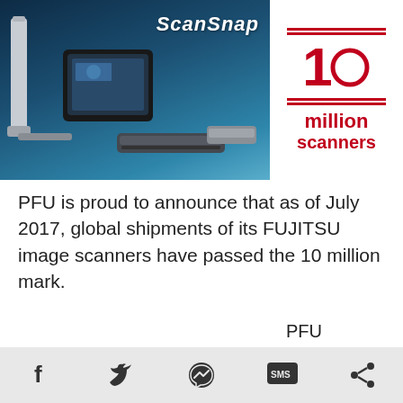[Figure (photo): ScanSnap banner image showing multiple Fujitsu image scanners on a dark blue-teal background with 'ScanSnap' text logo, and a red '10 million scanners' graphic on white background on the right side]
PFU is proud to announce that as of July 2017, global shipments of its FUJITSU image scanners have passed the 10 million mark.
PFU released its first image scanner, the U4301A
Social share icons: Facebook, Twitter, Messenger, SMS, Share